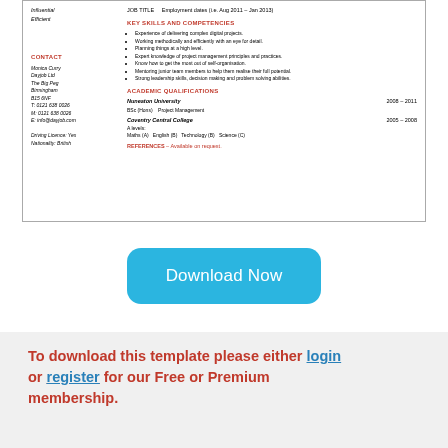[Figure (screenshot): Partial resume preview showing left column with italic words (Influential, Efficient), CONTACT section with name Monica Curry, Dayjob Ltd, The Big Peg, Birmingham, B15 6NF, phone numbers, email, Driving Licence Yes, Nationality British. Right column shows JOB TITLE and employment dates, KEY SKILLS AND COMPETENCIES bullet points, ACADEMIC QUALIFICATIONS with Nuneaton University 2008-2011 BSc (Hons) Project Management, Coventry Central College 2005-2008 A levels Maths (A) English (B) Technology (B) Science (C), and REFERENCES Available on request.]
[Figure (screenshot): Cyan/blue rounded rectangle Download Now button]
To download this template please either login or register for our Free or Premium membership.